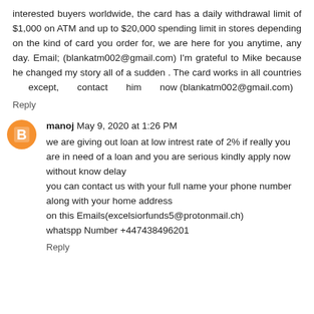interested buyers worldwide, the card has a daily withdrawal limit of $1,000 on ATM and up to $20,000 spending limit in stores depending on the kind of card you order for, we are here for you anytime, any day. Email; (blankatm002@gmail.com) I'm grateful to Mike because he changed my story all of a sudden . The card works in all countries except, contact him now (blankatm002@gmail.com)
Reply
manoj May 9, 2020 at 1:26 PM
we are giving out loan at low intrest rate of 2% if really you are in need of a loan and you are serious kindly apply now without know delay
you can contact us with your full name your phone number along with your home address
on this Emails(excelsiorfunds5@protonmail.ch)
whatspp Number +447438496201
Reply